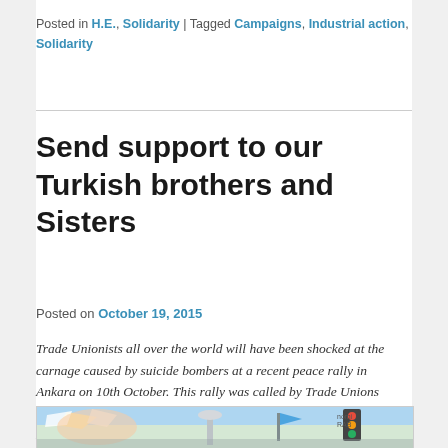Posted in H.E., Solidarity | Tagged Campaigns, Industrial action, Solidarity
Send support to our Turkish brothers and Sisters
Posted on October 19, 2015
Trade Unionists all over the world will have been shocked at the carnage caused by suicide bombers at a recent peace rally in Ankara on 10th October. This rally was called by Trade Unions anxious to end the hostilities between the Turkish state and the Kurdish people. Over 100 people were killed and over 200 injured.
[Figure (photo): Partial photo of a rally or protest scene with flags and a traffic light visible]